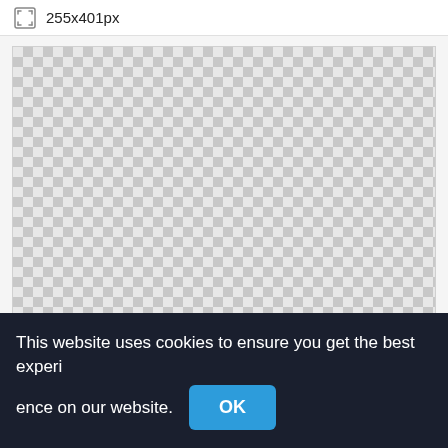255x401px
[Figure (other): Transparent checkerboard pattern preview area showing a 255x401px image with no content (transparent background shown as grey checkerboard)]
This website uses cookies to ensure you get the best experience on our website.
OK